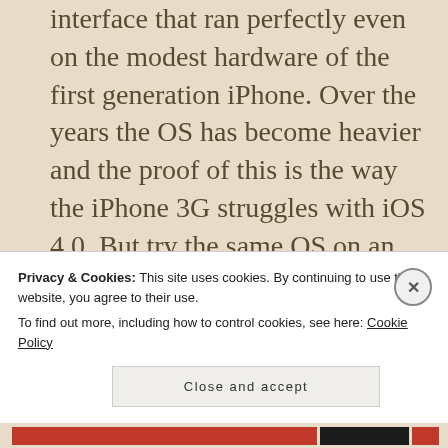interface that ran perfectly even on the modest hardware of the first generation iPhone. Over the years the OS has become heavier and the proof of this is the way the iPhone 3G struggles with iOS 4.0. But try the same OS on an iPhone 4 and you will notice a world of difference. The UI is silky smooth throughout with no noticeable sluggishness. Even when switching between
Privacy & Cookies: This site uses cookies. By continuing to use this website, you agree to their use.
To find out more, including how to control cookies, see here: Cookie Policy
Close and accept